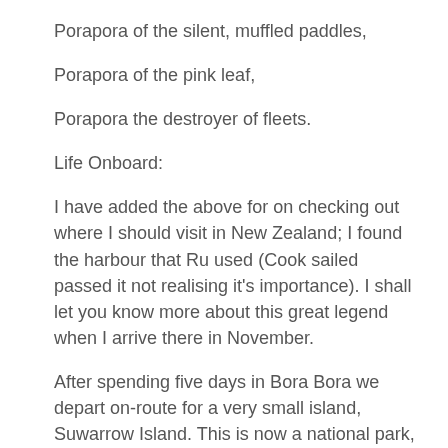Porapora of the silent, muffled paddles,
Porapora of the pink leaf,
Porapora the destroyer of fleets.
Life Onboard:
I have added the above for on checking out where I should visit in New Zealand; I found the harbour that Ru used (Cook sailed passed it not realising it's importance). I shall let you know more about this great legend when I arrive there in November.
After spending five days in Bora Bora we depart on-route for a very small island, Suwarrow Island. This is now a national park, so to preserve it's beauty.
The passage so far has been very slow in light winds,